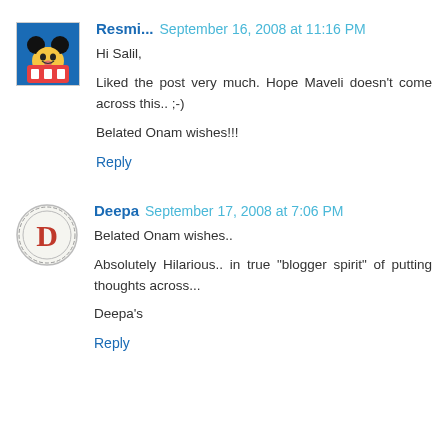[Figure (photo): Avatar image for user Resmi showing Mickey Mouse cartoon on blue background]
Resmi...  September 16, 2008 at 11:16 PM
Hi Salil,

Liked the post very much. Hope Maveli doesn't come across this.. ;-)

Belated Onam wishes!!!
Reply
[Figure (logo): Avatar image for user Deepa showing a letter D on circular badge]
Deepa  September 17, 2008 at 7:06 PM
Belated Onam wishes..

Absolutely Hilarious.. in true "blogger spirit" of putting thoughts across...

Deepa's
Reply